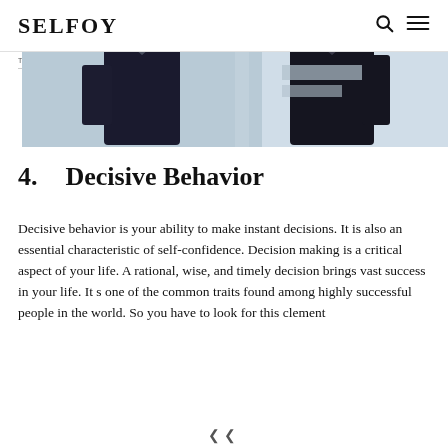SELFOY — The Leading Tech-Magazine
[Figure (photo): Two people in dark business attire, photographed from the torso, in an office or studio setting with a light background.]
4.      Decisive Behavior
Decisive behavior is your ability to make instant decisions. It is also an essential characteristic of self-confidence. Decision making is a critical aspect of your life. A rational, wise, and timely decision brings vast success in your life. It s one of the common traits found among highly successful people in the world. So you have to look for this clement...